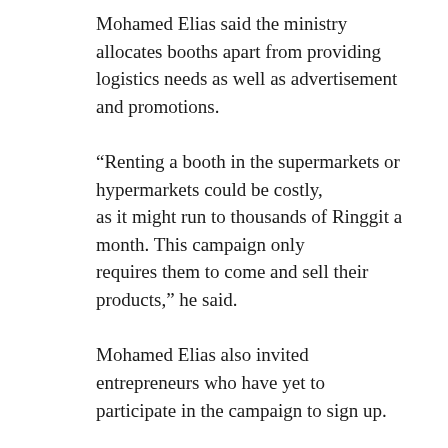Mohamed Elias said the ministry allocates booths apart from providing logistics needs as well as advertisement and promotions.
“Renting a booth in the supermarkets or hypermarkets could be costly, as it might run to thousands of Ringgit a month. This campaign only requires them to come and sell their products,” he said.
Mohamed Elias also invited entrepreneurs who have yet to participate in the campaign to sign up.
They only need to contact the Domestic Trade and Consumer Affairs Ministry’s Business Development Division in Putrajaya or the respective state offices...